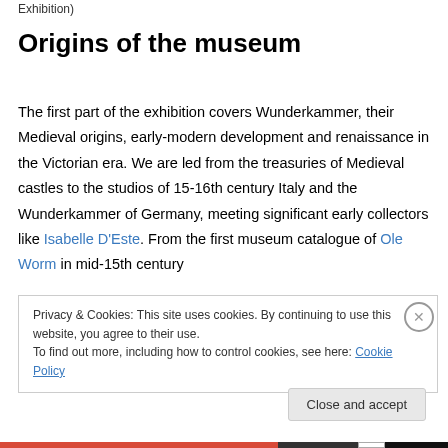Exhibition)
Origins of the museum
The first part of the exhibition covers Wunderkammer, their Medieval origins, early-modern development and renaissance in the Victorian era. We are led from the treasuries of Medieval castles to the studios of 15-16th century Italy and the Wunderkammer of Germany, meeting significant early collectors like Isabelle D'Este. From the first museum catalogue of Ole Worm in mid-15th century
Privacy & Cookies: This site uses cookies. By continuing to use this website, you agree to their use.
To find out more, including how to control cookies, see here: Cookie Policy
Close and accept